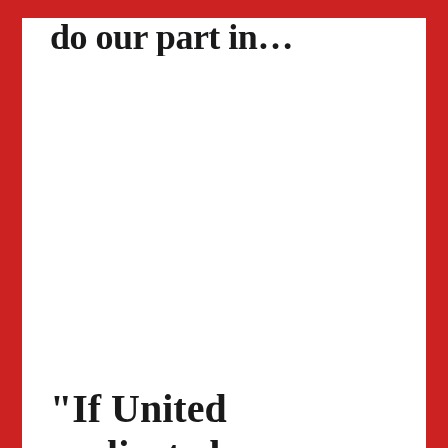do our part in…
“If United replicated